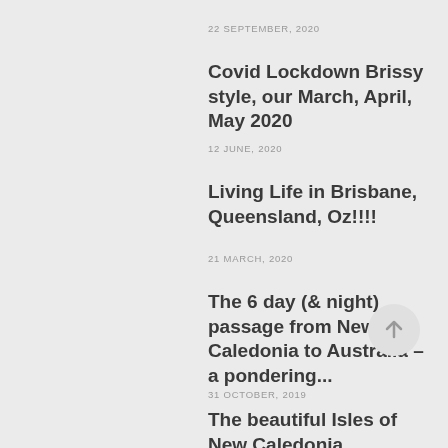22 SEPTEMBER, 2020
Covid Lockdown Brissy style, our March, April, May 2020
12 JUNE, 2020
Living Life in Brisbane, Queensland, Oz!!!!
21 MARCH, 2020
The 6 day (& night) passage from New Caledonia to Australia – a pondering...
31 OCTOBER, 2019
The beautiful Isles of New Caledonia